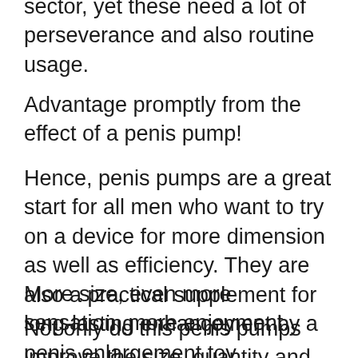sector, yet these need a lot of perseverance and also routine usage.
Advantage promptly from the effect of a penis pump!
Hence, penis pumps are a great start for all men who want to try on a device for more dimension as well as efficiency. They are also a practical supplement for long-lasting enhancement by a penis enlargement toy.
More size, even more sensation, more enjoyment.
Not only do this penis pumps improve the size, quantity and also period of your erections, they likewise offer one of the most